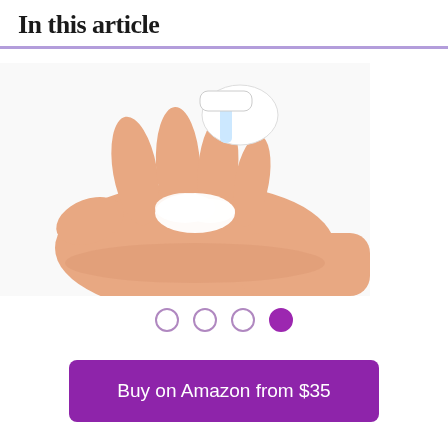In this article
[Figure (photo): A hand with soap or lotion being dispensed from a pump bottle onto the palm, white background.]
Carousel navigation dots: three empty circles and one filled purple circle (active, 4th position)
Buy on Amazon from $35
Why we choose it